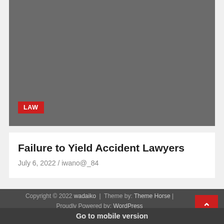[Figure (photo): Dark gray rectangular image placeholder area for article thumbnail]
LAW
Failure to Yield Accident Lawyers
July 6, 2022 / iwano@_84
Copyright © 2022 wadaiko | Theme by: Theme Horse | Proudly Powered by: WordPress
Go to mobile version